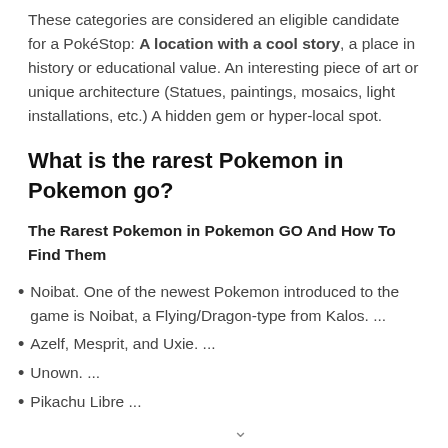These categories are considered an eligible candidate for a PokéStop: A location with a cool story, a place in history or educational value. An interesting piece of art or unique architecture (Statues, paintings, mosaics, light installations, etc.) A hidden gem or hyper-local spot.
What is the rarest Pokemon in Pokemon go?
The Rarest Pokemon in Pokemon GO And How To Find Them
Noibat. One of the newest Pokemon introduced to the game is Noibat, a Flying/Dragon-type from Kalos. ...
Azelf, Mesprit, and Uxie. ...
Unown. ...
Pikachu Libre ...